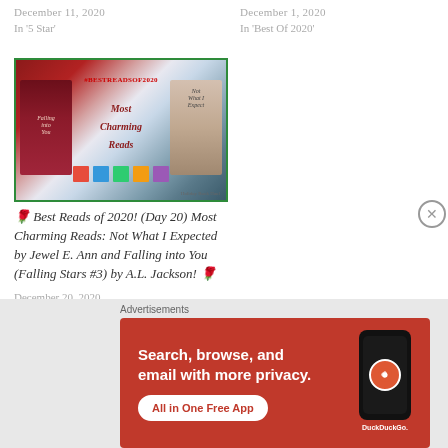December 11, 2020
In '5 Star'
December 1, 2020
In 'Best Of 2020'
[Figure (illustration): Book collage image with text '#BESTREADSOF2020 Most Charming Reads' with book covers and gift boxes]
🌹 Best Reads of 2020! (Day 20) Most Charming Reads: Not What I Expected by Jewel E. Ann and Falling into You (Falling Stars #3) by A.L. Jackson! 🌹
December 20, 2020
In 'A.L. Jackson'
Advertisements
[Figure (screenshot): DuckDuckGo advertisement banner: Search, browse, and email with more privacy. All in One Free App]